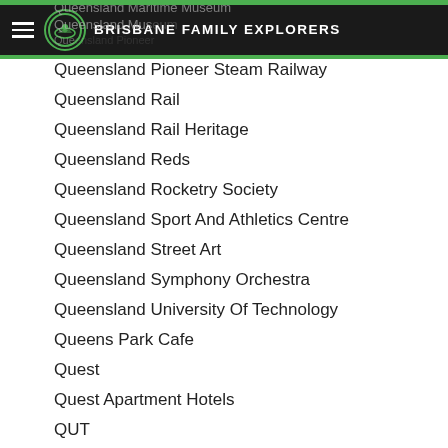Brisbane Family Explorers
Queensland Maritime Museum
Queensland Museum
Queensland Pioneer Steam Railway
Queensland Rail
Queensland Rail Heritage
Queensland Reds
Queensland Rocketry Society
Queensland Sport And Athletics Centre
Queensland Street Art
Queensland Symphony Orchestra
Queensland University Of Technology
Queens Park Cafe
Quest
Quest Apartment Hotels
QUT
QUT Creative Industries
QUT Dragon Boat Regatta
QUT Gardens Point
QUT The Cube